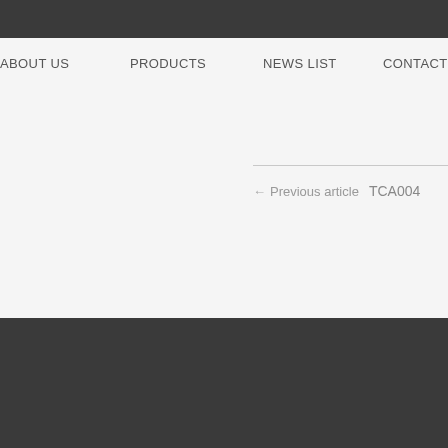ABOUT US
PRODUCTS
NEWS LIST
CONTACT
← Previous article   TCA004